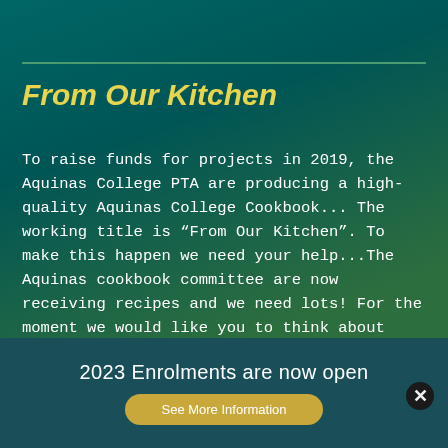From Our Kitchen
To raise funds for projects in 2019, the Aquinas College PTA are producing a high-quality Aquinas College Cookbook... The working title is “From Our Kitchen”. To make this happen we need your help...The Aquinas cookbook committee are now receiving recipes and we need lots! For the moment we would like you to think about some of those favourite family recipes that your grandmother swears by and that you wouldn’t mind sharing with our community. We will endeavour to get all the recipes we receive, into the cookbook but depending on numbers this
2023 Enrolments are now open
See More Information